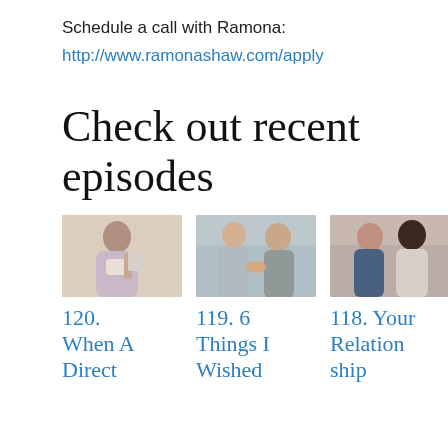Schedule a call with Ramona:
http://www.ramonashaw.com/apply
Check out recent episodes
[Figure (photo): Woman looking at a tablet device]
[Figure (photo): Two men in business attire shaking hands and laughing]
[Figure (photo): Two people laughing together at a table]
120. When A Direct
119. 6 Things I Wished
118. Your Relation ship